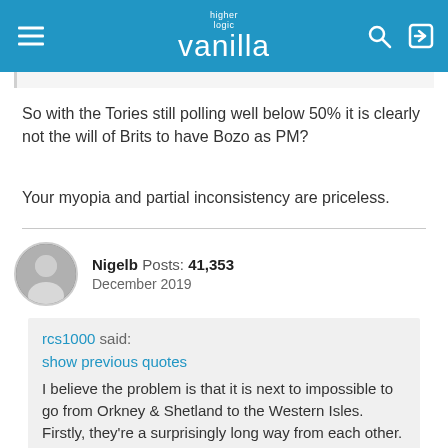higher logic vanilla
So with the Tories still polling well below 50% it is clearly not the will of Brits to have Bozo as PM?
Your myopia and partial inconsistency are priceless.
Nigelb  Posts: 41,353
December 2019
rcs1000 said:
show previous quotes
I believe the problem is that it is next to impossible to go from Orkney & Shetland to the Western Isles. Firstly, they're a surprisingly long way from each other. Secondly, there's no direct